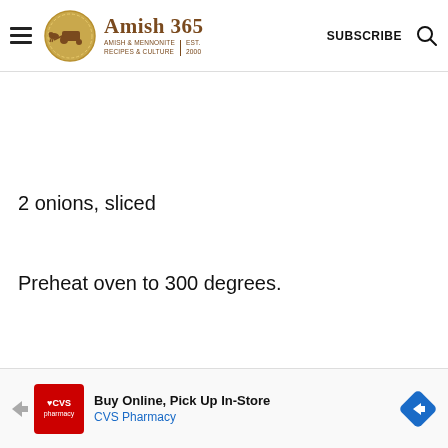Amish 365 — AMISH & MENNONITE RECIPES & CULTURE | EST. 2000 | SUBSCRIBE
2 onions, sliced
Preheat oven to 300 degrees.
[Figure (other): CVS Pharmacy advertisement banner: Buy Online, Pick Up In-Store — CVS Pharmacy]